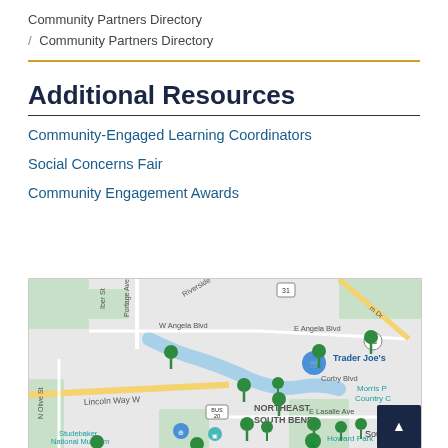Community Partners Directory / Community Partners Directory
Additional Resources
Community-Engaged Learning Coordinators
Social Concerns Fair
Community Engagement Awards
[Figure (map): Google Maps view of South Bend, Indiana area showing community partner locations as green map pins, with streets including W Angela Blvd, E Angela Blvd, Lincoln Way W, E Lasalle Ave, and landmarks including Trader Joe's (blue pin), Studebaker National Museum, Howard Park, Morris P Country Club (partially visible), and street labels including Portage Ave, Riverside, N Olive St. Route markers include US 31, US 23, BUS 20.]